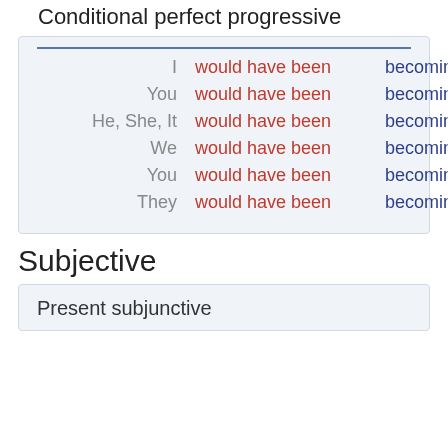Conditional perfect progressive
| Pronoun | Auxiliary | Main Verb |
| --- | --- | --- |
| I | would have been | becoming |
| You | would have been | becoming |
| He, She, It | would have been | becoming |
| We | would have been | becoming |
| You | would have been | becoming |
| They | would have been | becoming |
Subjective
Present subjunctive